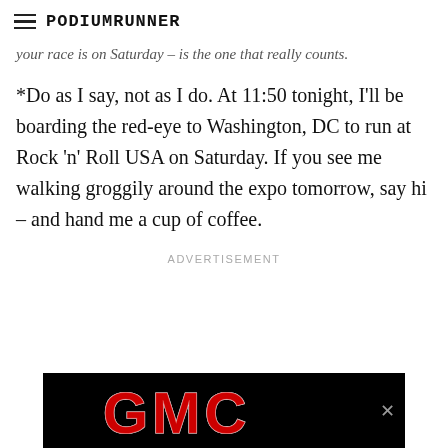PodiumRunner
your race is on Saturday – is the one that really counts.
*Do as I say, not as I do. At 11:50 tonight, I'll be boarding the red-eye to Washington, DC to run at Rock 'n' Roll USA on Saturday. If you see me walking groggily around the expo tomorrow, say hi – and hand me a cup of coffee.
ADVERTISEMENT
[Figure (logo): GMC logo on black background advertisement banner]